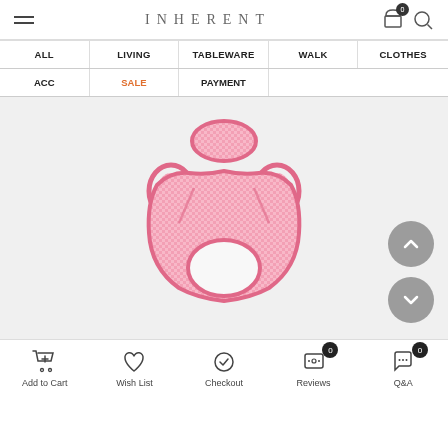INHERENT
| ALL | LIVING | TABLEWARE | WALK | CLOTHES |
| --- | --- | --- | --- | --- |
| ACC | SALE | PAYMENT |  |  |
[Figure (photo): Pink gingham dog vest/harness top laid flat on light gray background]
Add to Cart | Wish List | Checkout | Reviews 0 | Q&A 0